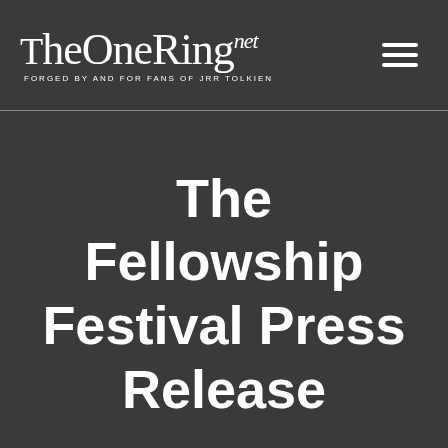TheOneRing.net — FORGED BY AND FOR FANS OF JRR TOLKIEN
The Fellowship Festival Press Release